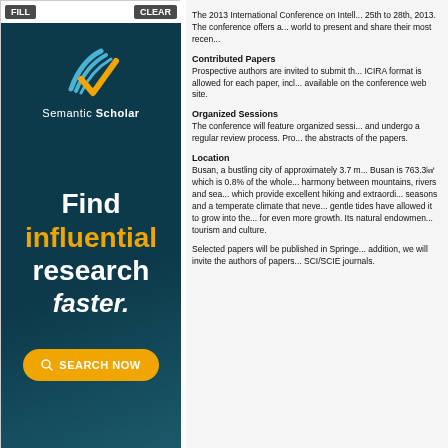[Figure (logo): Semantic Scholar advertisement banner with logo, tagline 'Find influential research faster.' and SEARCH NOW button on dark teal background]
The 2013 International Conference on Intell... 25th to 28th, 2013. The conference offers a... world to present and share their most recen...
Contributed Papers
Prospective authors are invited to submit th... ICIRA format is allowed for each paper, incl... available on the conference web site.
Organized Sessions
The conference will feature organized sessi... and undergo a regular review process. Pro... the abstracts of the papers.
Location
Busan, a bustling city of approximately 3.7 m... Busan is 763.3㎢ which is 0.8% of the whole... harmony between mountains, rivers and sea... which provide excellent hiking and extraordi... seasons and a temperate climate that neve... gentle tides have allowed it to grow into the... for even more growth. Its natural endowmen... tourism and culture.
Selected papers will be published in Springe... addition, we will invite the authors of papers... SCI/SCIE journals.